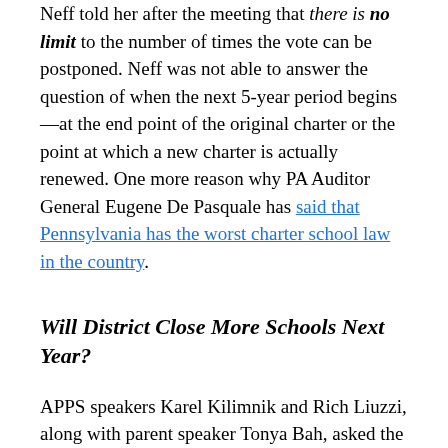Neff told her after the meeting that there is no limit to the number of times the vote can be postponed. Neff was not able to answer the question of when the next 5-year period begins—at the end point of the original charter or the point at which a new charter is actually renewed. One more reason why PA Auditor General Eugene De Pasquale has said that Pennsylvania has the worst charter school law in the country.
Will District Close More Schools Next Year?
APPS speakers Karel Kilimnik and Rich Liuzzi, along with parent speaker Tonya Bah, asked the commissioners to identify now the schools that